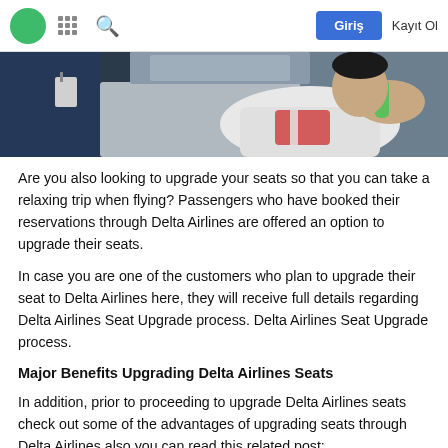Giriş  Kayıt Ol
[Figure (photo): A child lying back on an airplane seat, holding a green bottle, wearing a red and white shirt, with someone in a blue jacket nearby.]
Are you also looking to upgrade your seats so that you can take a relaxing trip when flying? Passengers who have booked their reservations through Delta Airlines are offered an option to upgrade their seats.
In case you are one of the customers who plan to upgrade their seat to Delta Airlines here, they will receive full details regarding Delta Airlines Seat Upgrade process. Delta Airlines Seat Upgrade process.
Major Benefits Upgrading Delta Airlines Seats
In addition, prior to proceeding to upgrade Delta Airlines seats check out some of the advantages of upgrading seats through Delta Airlines also you can read this related post:
Delta upgrade to first class.
When upgrading the ticket to Delta Airlines, the passengers get